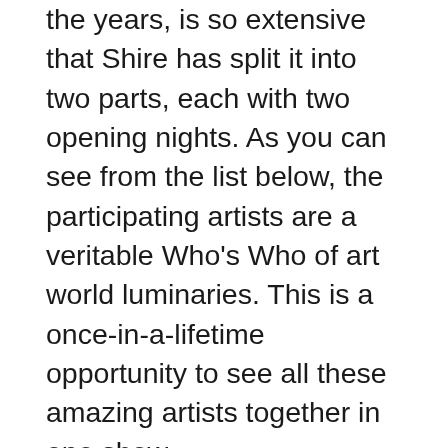the years, is so extensive that Shire has split it into two parts, each with two opening nights. As you can see from the list below, the participating artists are a veritable Who's Who of art world luminaries. This is a once-in-a-lifetime opportunity to see all these amazing artists together in one show.
The book, La Luz de Jesus 25: The Little Gallery That Could, features images of all the art in the show, a personal anecdote about Shire and the gallery written by each artist, essays by La Luz gallery directors and a foreword by Shire. The book is much more